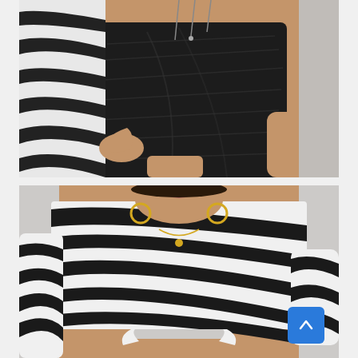[Figure (photo): Fashion product photo of a model wearing a zebra-print long-sleeve top with a black croc-effect faux leather mini skirt. The model is cropped from torso to thigh against a light grey background.]
[Figure (photo): Fashion product photo of a model wearing a zebra-print long-sleeve crop top with ruched/cut-out detailing at the hem. Model wears gold hoop earrings and a gold necklace. Background is light grey. A blue scroll-to-top button appears in the bottom right corner.]